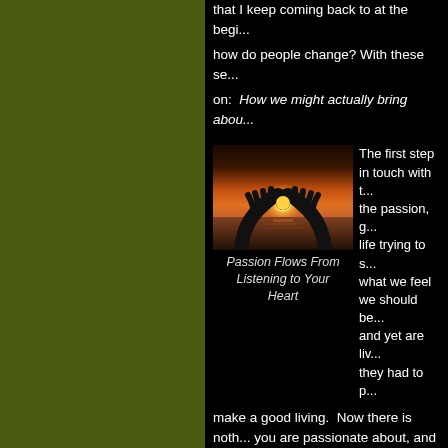that I keep coming back to at the beginning: how do people change? With these se on: How we might actually bring abou
[Figure (photo): Two hands forming a heart shape framed against a sunset sky over water]
Passion Flows From Listening to Your Heart
The first step in touch with the passion, g life trying to s what we feel we should be and yet are li they had to p make a good living. Now there is noth you are passionate about, and if you fe is not what vocation you choose, but w sense of significance. I admire accoun miserable!
Don't let the opinion or agendas of oth struggle to change unhealthy habits is then anesthetize our pain or relieve o